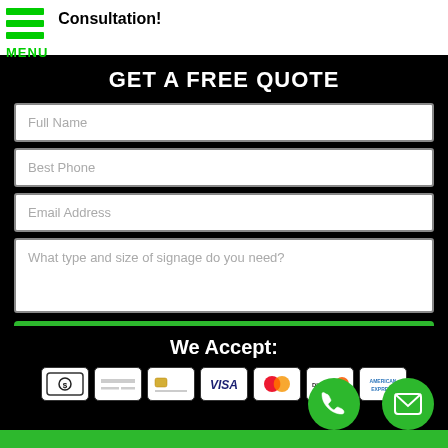Consultation!
GET A FREE QUOTE
Full Name
Best Phone
Email Address
What type and size of signage do you need?
REQUEST MY QUOTE
We Accept:
[Figure (infographic): Payment method icons: cash, credit card generic 1, credit card generic 2, Visa, Mastercard, Discover, American Express]